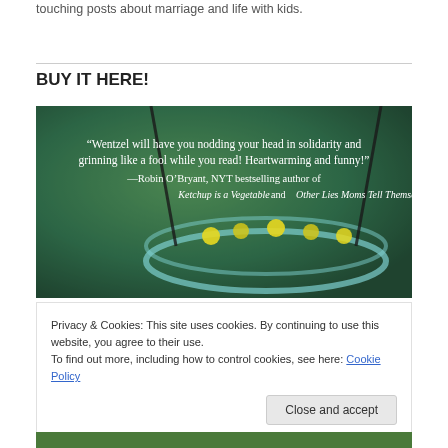touching posts about marriage and life with kids.
BUY IT HERE!
[Figure (photo): Book cover image with quote: "Wentzel will have you nodding your head in solidarity and grinning like a fool while you read! Heartwarming and funny!" —Robin O'Bryant, NYT bestselling author of Ketchup is a Vegetable and Other Lies Moms Tell Themselves. Background shows a mason jar with fireflies on a blurred green background.]
Privacy & Cookies: This site uses cookies. By continuing to use this website, you agree to their use.
To find out more, including how to control cookies, see here: Cookie Policy
Close and accept